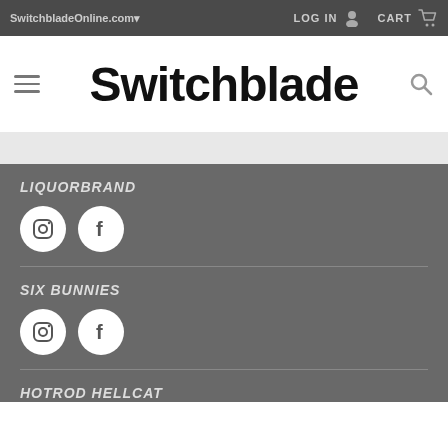SwitchbladeOnline.com▾  LOG IN  CART
Switchblade
LIQUORBRAND
[Figure (illustration): Instagram and Facebook social media icons (white circles with Instagram camera icon and Facebook 'f' icon)]
SIX BUNNIES
[Figure (illustration): Instagram and Facebook social media icons (white circles with Instagram camera icon and Facebook 'f' icon)]
HOTROD HELLCAT